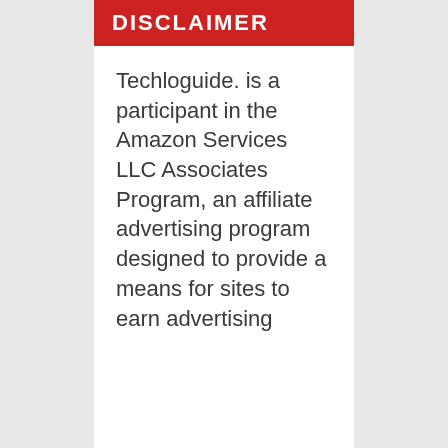DISCLAIMER
Techloguide. is a participant in the Amazon Services LLC Associates Program, an affiliate advertising program designed to provide a means for sites to earn advertising